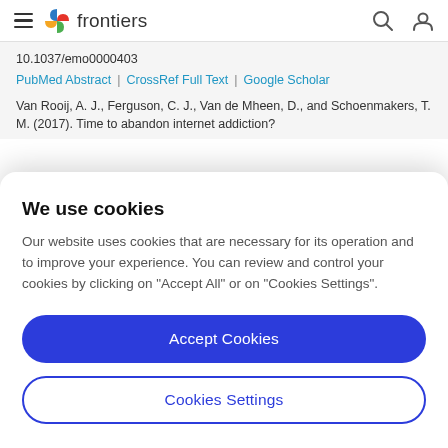frontiers
10.1037/emo0000403
PubMed Abstract | CrossRef Full Text | Google Scholar
Van Rooij, A. J., Ferguson, C. J., Van de Mheen, D., and Schoenmakers, T. M. (2017). Time to abandon internet addiction?
We use cookies
Our website uses cookies that are necessary for its operation and to improve your experience. You can review and control your cookies by clicking on "Accept All" or on "Cookies Settings".
Accept Cookies
Cookies Settings